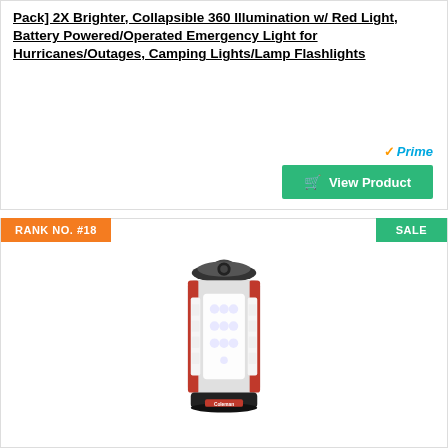Pack] 2X Brighter, Collapsible 360 Illumination w/ Red Light, Battery Powered/Operated Emergency Light for Hurricanes/Outages, Camping Lights/Lamp Flashlights
[Figure (other): Amazon Prime logo with orange checkmark and blue italic Prime text]
View Product
RANK NO. #18
SALE
[Figure (photo): Coleman LED camping lantern, cylindrical shape with red and silver body, handle on top, glowing white LED panels]